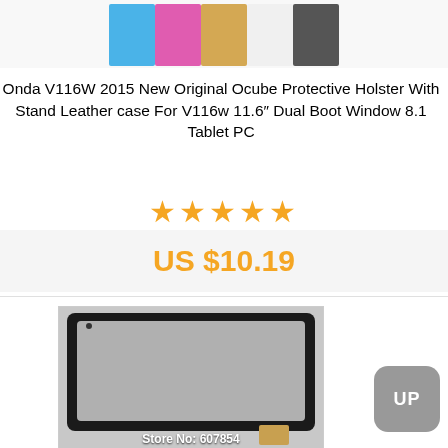[Figure (photo): Colorful tablet cases/holsters in blue, pink, gold, white, and dark gray colors shown at the top of the page]
Onda V116W 2015 New Original Ocube Protective Holster With Stand Leather case For V116w 11.6″ Dual Boot Window 8.1 Tablet PC
[Figure (other): Five orange star rating icons]
US $10.19
[Figure (photo): Black tablet touchscreen digitizer glass panel product photo with store watermark 'Store No: 607854']
[Figure (other): Gray rounded rectangle UP button in bottom right corner]